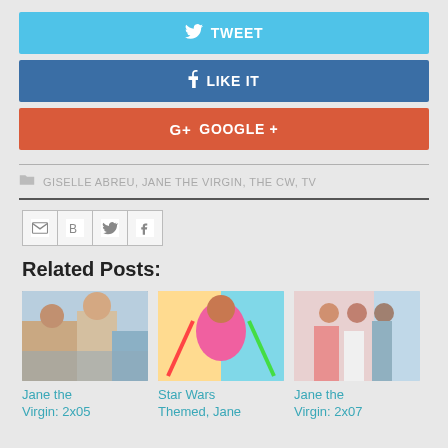[Figure (infographic): Tweet social share button (blue, with Twitter bird icon)]
[Figure (infographic): Like It social share button (dark blue, with Facebook f icon)]
[Figure (infographic): Google+ social share button (red-orange, with g+ icon)]
GISELLE ABREU, JANE THE VIRGIN, THE CW, TV
[Figure (infographic): Share icons row: Gmail, Blogger, Twitter, Facebook]
Related Posts:
[Figure (photo): Jane the Virgin 2x05 thumbnail - people in hallway]
[Figure (photo): Star Wars Themed Jane thumbnail - woman in pink dress with lightsabers]
[Figure (photo): Jane the Virgin 2x07 thumbnail - group of people in a store]
Jane the Virgin: 2x05
Star Wars Themed, Jane
Jane the Virgin: 2x07